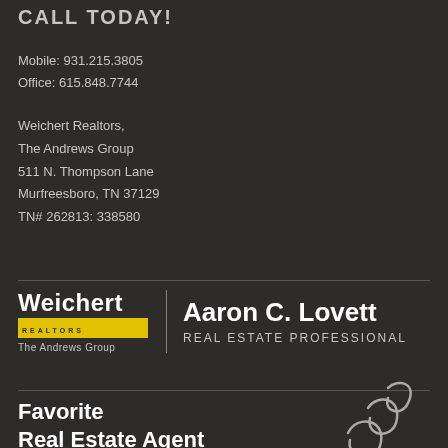CALL TODAY!
Mobile: 931.215.3805
Office: 615.848.7744
Weichert Realtors,
The Andrews Group
511 N. Thompson Lane
Murfreesboro, TN 37129
TN# 262813: 338580
[Figure (logo): Weichert Realtors The Andrews Group logo with yellow bar and text]
Aaron C. Lovett
Real Estate Professional
Favorite
Real Estate Agent